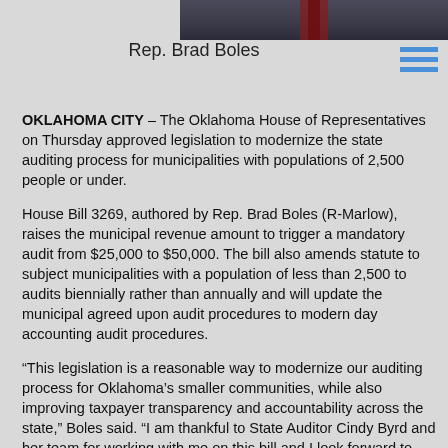[Figure (photo): Photo of Rep. Brad Boles, showing lower portion of a man in a dark suit with a red tie against a dark background.]
Rep. Brad Boles
OKLAHOMA CITY – The Oklahoma House of Representatives on Thursday approved legislation to modernize the state auditing process for municipalities with populations of 2,500 people or under.
House Bill 3269, authored by Rep. Brad Boles (R-Marlow), raises the municipal revenue amount to trigger a mandatory audit from $25,000 to $50,000. The bill also amends statute to subject municipalities with a population of less than 2,500 to audits biennially rather than annually and will update the municipal agreed upon audit procedures to modern day accounting audit procedures.
“This legislation is a reasonable way to modernize our auditing process for Oklahoma’s smaller communities, while also improving taxpayer transparency and accountability across the state,” Boles said. “I am thankful to State Auditor Cindy Byrd and her team for working with me on this bill and I look forward to seeing it succeed in the Senate as well. I really appreciate the support of my House colleagues on this important legislation.”
Under HB3269, the State Auditor and Inspector would prescribe the compliance requirements for these municipalities.